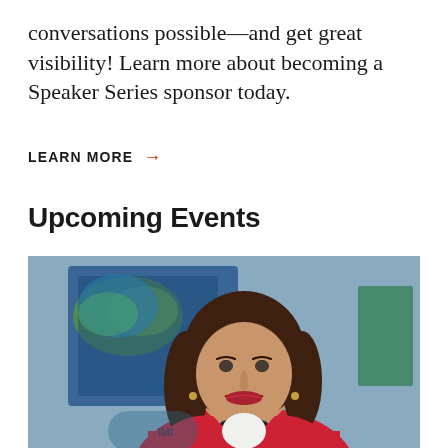conversations possible—and get great visibility! Learn more about becoming a Speaker Series sponsor today.
LEARN MORE →
Upcoming Events
[Figure (photo): A smiling woman with long brown hair, wearing a red blazer and blue necklace, standing in front of a blue map or poster background.]